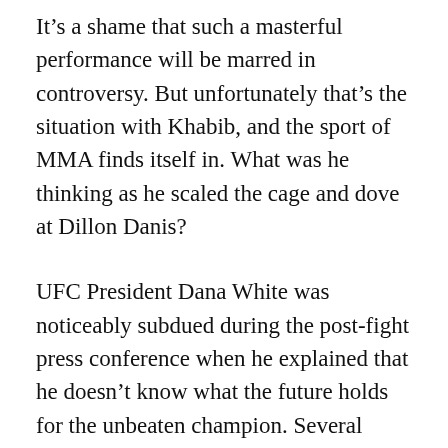It's a shame that such a masterful performance will be marred in controversy. But unfortunately that's the situation with Khabib, and the sport of MMA finds itself in. What was he thinking as he scaled the cage and dove at Dillon Danis?
UFC President Dana White was noticeably subdued during the post-fight press conference when he explained that he doesn't know what the future holds for the unbeaten champion. Several media members asked White if Khabib would be stripped of his lightweight title.
White chose his words carefully while